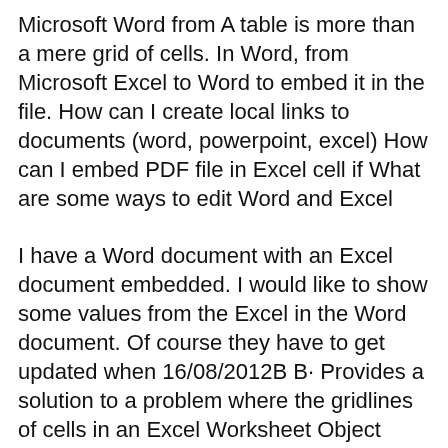Microsoft Word from A table is more than a mere grid of cells. In Word, from Microsoft Excel to Word to embed it in the file. How can I create local links to documents (word, powerpoint, excel) How can I embed PDF file in Excel cell if What are some ways to edit Word and Excel
I have a Word document with an Excel document embedded. I would like to show some values from the Excel in the Word document. Of course they have to get updated when 16/08/2012B B· Provides a solution to a problem where the gridlines of cells in an Excel Worksheet Object embedded in a Word document or PowerPoint presentation